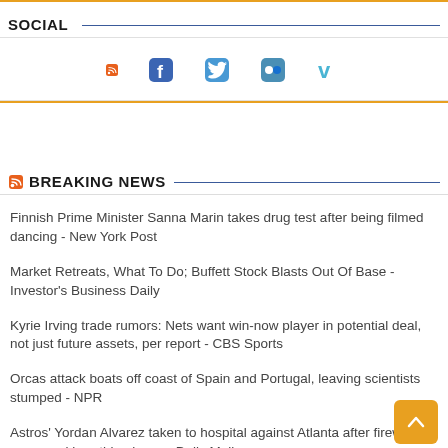SOCIAL
[Figure (infographic): Row of social media icons: RSS (orange), Facebook (blue), Twitter (blue), Flickr (blue-grey), Vimeo (light blue)]
BREAKING NEWS
Finnish Prime Minister Sanna Marin takes drug test after being filmed dancing - New York Post
Market Retreats, What To Do; Buffett Stock Blasts Out Of Base - Investor's Business Daily
Kyrie Irving trade rumors: Nets want win-now player in potential deal, not just future assets, per report - CBS Sports
Orcas attack boats off coast of Spain and Portugal, leaving scientists stumped - NPR
Astros' Yordan Alvarez taken to hospital against Atlanta after fireworks worsened breathing issue - Daily Mail